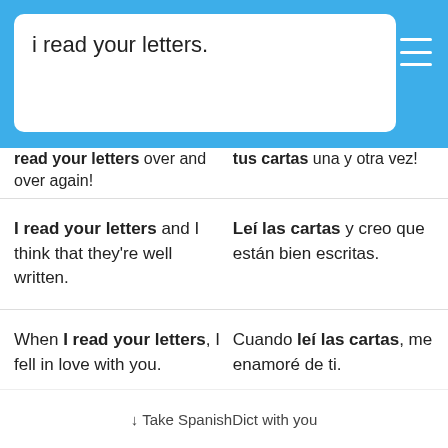i read your letters.
read your letters over and over again! | tus cartas una y otra vez!
I read your letters and I think that they're well written. | Leí las cartas y creo que están bien escritas.
When I read your letters, I fell in love with you. | Cuando leí las cartas, me enamoré de ti.
I read your letters. Wow. | Leí sus cartas. ¿Quién las...
↓ Take SpanishDict with you